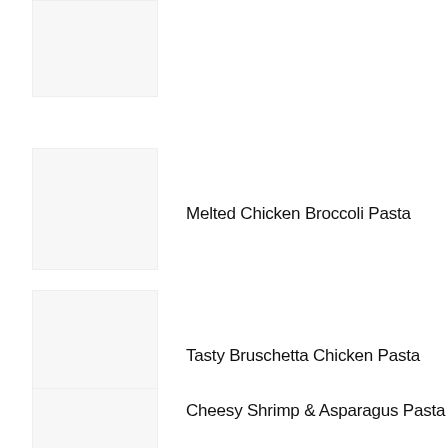[Figure (photo): Placeholder image thumbnail for first recipe (top, partially cut off)]
Melted Chicken Broccoli Pasta
[Figure (photo): Placeholder image thumbnail for Tasty Bruschetta Chicken Pasta]
Tasty Bruschetta Chicken Pasta
[Figure (photo): Placeholder image thumbnail for Cheesy Shrimp & Asparagus Pasta]
Cheesy Shrimp & Asparagus Pasta